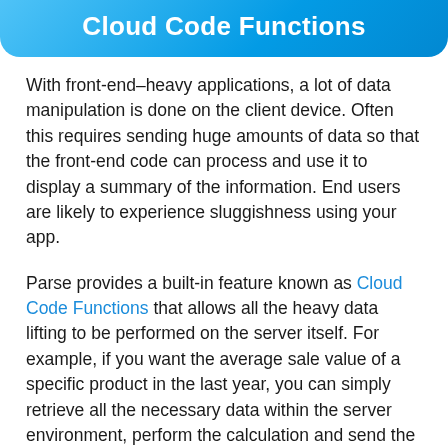Cloud Code Functions
With front-end–heavy applications, a lot of data manipulation is done on the client device. Often this requires sending huge amounts of data so that the front-end code can process and use it to display a summary of the information. End users are likely to experience sluggishness using your app.
Parse provides a built-in feature known as Cloud Code Functions that allows all the heavy data lifting to be performed on the server itself. For example, if you want the average sale value of a specific product in the last year, you can simply retrieve all the necessary data within the server environment, perform the calculation and send the value to the front-end client.